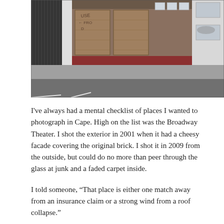[Figure (photo): Black and white photograph of the exterior of the Broadway Theater building. The storefront has large plywood-boarded windows with graffiti, and smaller upper windows. A sidewalk and street are visible in the foreground.]
I've always had a mental checklist of places I wanted to photograph in Cape. High on the list was the Broadway Theater. I shot the exterior in 2001 when it had a cheesy facade covering the original brick. I shot it in 2009 from the outside, but could do no more than peer through the glass at junk and a faded carpet inside.
I told someone, “That place is either one match away from an insurance claim or a strong wind from a roof collapse.”
Phillip Davis is starting a business